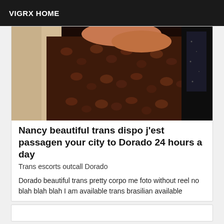VIGRX HOME
[Figure (photo): Close-up photo showing a person resting on a sofa with a leopard-print fabric and dark background]
Nancy beautiful trans dispo j'est passagen your city to Dorado 24 hours a day
Trans escorts outcall Dorado
Dorado beautiful trans pretty corpo me foto without reel no blah blah blah I am available trans brasilian available